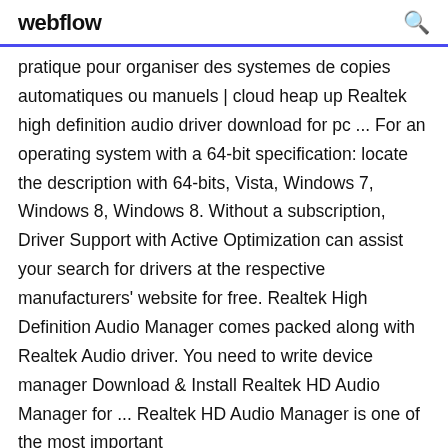webflow
pratique pour organiser des systemes de copies automatiques ou manuels | cloud heap up Realtek high definition audio driver download for pc ... For an operating system with a 64-bit specification: locate the description with 64-bits, Vista, Windows 7, Windows 8, Windows 8. Without a subscription, Driver Support with Active Optimization can assist your search for drivers at the respective manufacturers' website for free. Realtek High Definition Audio Manager comes packed along with Realtek Audio driver. You need to write device manager Download & Install Realtek HD Audio Manager for ... Realtek HD Audio Manager is one of the most important